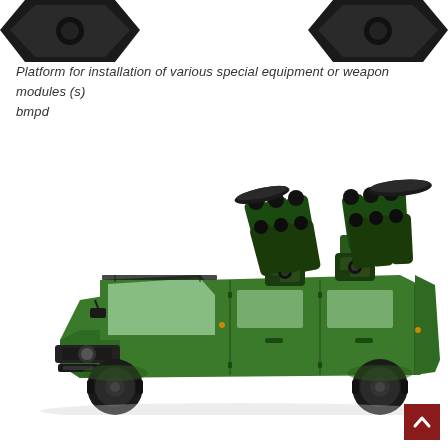[Figure (illustration): Two dark hexagonal shapes / sensor modules shown at the top of the page, partially cropped]
Platform for installation of various special equipment or weapon modules (s) bmpd
[Figure (illustration): 3D render of a large green military armored vehicle (similar to Tigr or MRAP) with a multi-tube missile launcher system mounted on the roof, shown in three-quarter front-left perspective on white background]